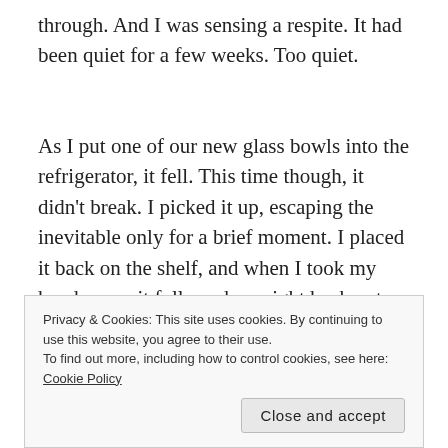through. And I was sensing a respite. It had been quiet for a few weeks. Too quiet.
As I put one of our new glass bowls into the refrigerator, it fell. This time though, it didn't break. I picked it up, escaping the inevitable only for a brief moment. I placed it back on the shelf, and when I took my hand away, it followed me right back out and onto
Privacy & Cookies: This site uses cookies. By continuing to use this website, you agree to their use.
To find out more, including how to control cookies, see here: Cookie Policy
Close and accept